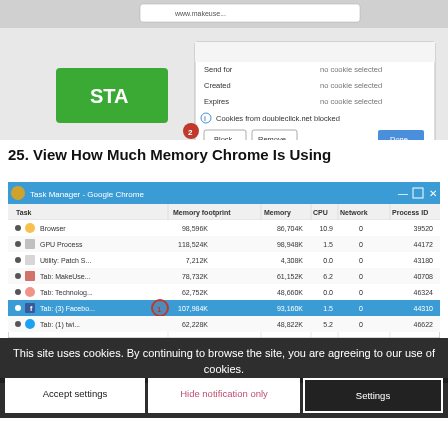[Figure (screenshot): Browser cookie settings dialog showing Send for, Created, Expires fields with 'no cookie selected', a message 'Cookies from doubleclick.net blocked', Block and Remove buttons, Done button. Red circled number 2 annotation. Partially visible webpage with green START button and Login text.]
25. View How Much Memory Chrome Is Using
[Figure (screenshot): Google Chrome Task Manager window showing columns: Task, Memory footprint, Memory, CPU, Network, Process ID. Rows: Browser 98,596K 86,704K 10.9 0 39520; GPU Process 118,524K 98,948K 1.5 0 44172; Utility: Patch S... 7,212K 4,308K 0.0 0 43180; Tab: MakeUse... 78,732K 61,152K 6.2 0 40708; Tab: Technolog... 62,752K 48,660K 0.0 0 46324; Tab: (3) Facebo... 107,984K 93,160K 1.5 0 44310 (highlighted blue, red circle 1 annotation). Additional rows partially visible.]
This site uses cookies. By continuing to browse the site, you are agreeing to our use of cookies.